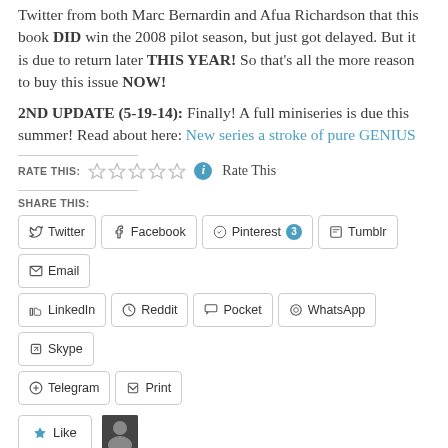Twitter from both Marc Bernardin and Afua Richardson that this book DID win the 2008 pilot season, but just got delayed. But it is due to return later THIS YEAR! So that's all the more reason to buy this issue NOW!
2ND UPDATE (5-19-14): Finally! A full miniseries is due this summer! Read about here: New series a stroke of pure GENIUS
RATE THIS: ☆☆☆☆☆ Rate This
SHARE THIS:
Twitter | Facebook | Pinterest 3 | Tumblr | Email | LinkedIn | Reddit | Pocket | WhatsApp | Skype | Telegram | Print
Like